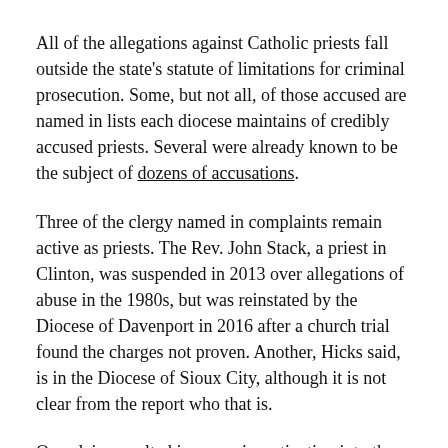All of the allegations against Catholic priests fall outside the state's statute of limitations for criminal prosecution. Some, but not all, of those accused are named in lists each diocese maintains of credibly accused priests. Several were already known to be the subject of dozens of accusations.
Three of the clergy named in complaints remain active as priests. The Rev. John Stack, a priest in Clinton, was suspended in 2013 over allegations of abuse in the 1980s, but was reinstated by the Diocese of Davenport in 2016 after a church trial found the charges not proven. Another, Hicks said, is in the Diocese of Sioux City, although it is not clear from the report who that is.
One claim resulted in a new investigation into the Rev. Robert “Bud” Grant, an instructor at St. Ambrose